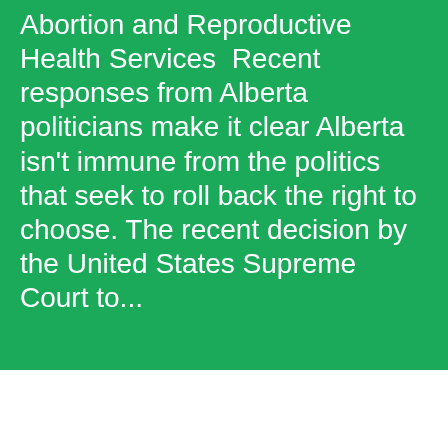Abortion and Reproductive Health Services  Recent responses from Alberta politicians make it clear Alberta isn't immune from the politics that seek to roll back the right to choose. The recent decision by the United States Supreme Court to...